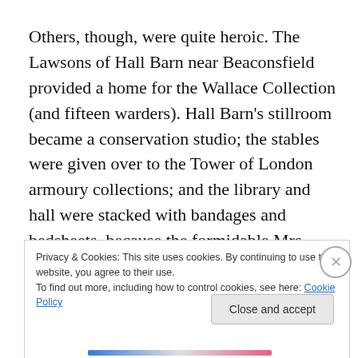Others, though, were quite heroic. The Lawsons of Hall Barn near Beaconsfield provided a home for the Wallace Collection (and fifteen warders). Hall Barn's stillroom became a conservation studio; the stables were given over to the Tower of London armoury collections; and the library and hall were stacked with bandages and bedsheets, because the formidable Mrs Lawson had agreed that the house could be used as a depot for the Central Hospital Supplies Service. When a Pickfords lorry turned up with the sawn-up panels of Rubens' magnificent
Privacy & Cookies: This site uses cookies. By continuing to use this website, you agree to their use.
To find out more, including how to control cookies, see here: Cookie Policy
Close and accept